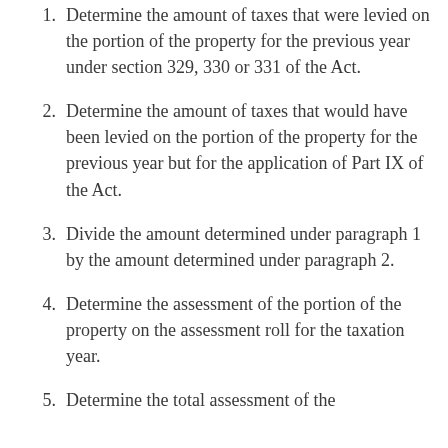1. Determine the amount of taxes that were levied on the portion of the property for the previous year under section 329, 330 or 331 of the Act.
2. Determine the amount of taxes that would have been levied on the portion of the property for the previous year but for the application of Part IX of the Act.
3. Divide the amount determined under paragraph 1 by the amount determined under paragraph 2.
4. Determine the assessment of the portion of the property on the assessment roll for the taxation year.
5. Determine the total assessment of the